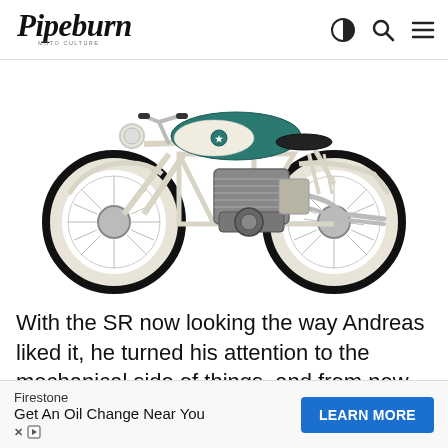Pipeburn Moto Culture
[Figure (photo): Custom Yamaha SR bobber motorcycle with white frame, teal and white fuel tank, whitewall tires, chrome spoke wheels, on a white background]
With the SR now looking the way Andreas liked it, he turned his attention to the mechanical side of things, and from new leads, to braided fuel lines nothing has been left to chance. Polishing the engine and side covers... the incred...
Firestone — Get An Oil Change Near You [LEARN MORE]